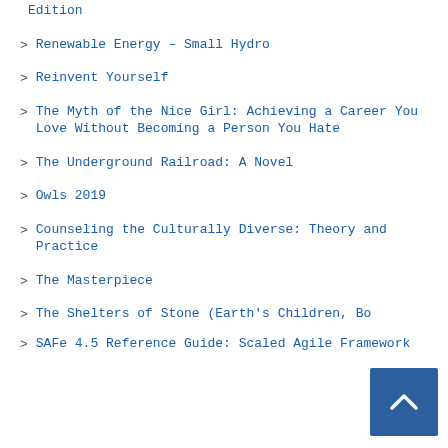Edition
Renewable Energy – Small Hydro
Reinvent Yourself
The Myth of the Nice Girl: Achieving a Career You Love Without Becoming a Person You Hate
The Underground Railroad: A Novel
Owls 2019
Counseling the Culturally Diverse: Theory and Practice
The Masterpiece
The Shelters of Stone (Earth's Children, Bo…
SAFe 4.5 Reference Guide: Scaled Agile Framework…